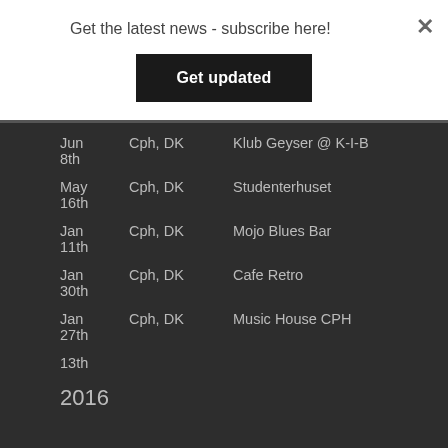Get the latest news - subscribe here!
Get updated
| Date | Location | Venue |
| --- | --- | --- |
| Jun 8th | Cph, DK | Klub Geyser @ K-I-B |
| May 16th | Cph, DK | Studenterhuset |
| Jan 11th | Cph, DK | Mojo Blues Bar |
| Jan 30th | Cph, DK | Cafe Retro |
| Jan 27th | Cph, DK | Music House CPH |
| Jan 13th |  |  |
2016